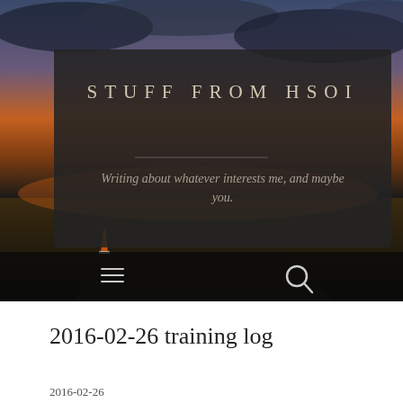[Figure (photo): Hero image of a sunset/dusk road scene with dramatic orange and dark blue cloudy sky, featuring a dark semi-transparent overlay panel with site title and tagline. Below the panel is a dark navigation bar with hamburger menu and search icon.]
STUFF FROM HSOI
Writing about whatever interests me, and maybe you.
2016-02-26 training log
2016-02-26